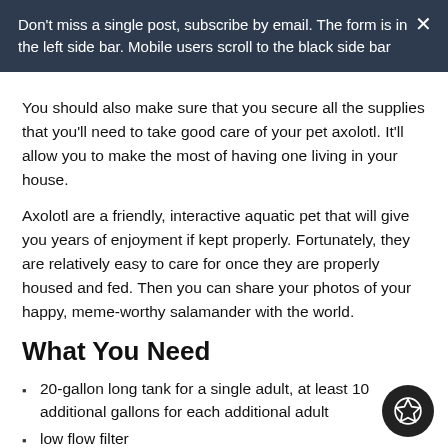Don't miss a single post, subscribe by email. The form is in the left side bar. Mobile users scroll to the black side bar
You should also make sure that you secure all the supplies that you'll need to take good care of your pet axolotl. It'll allow you to make the most of having one living in your house.
Axolotl are a friendly, interactive aquatic pet that will give you years of enjoyment if kept properly. Fortunately, they are relatively easy to care for once they are properly housed and fed. Then you can share your photos of your happy, meme-worthy salamander with the world.
What You Need
20-gallon long tank for a single adult, at least 10 additional gallons for each additional adult
low flow filter